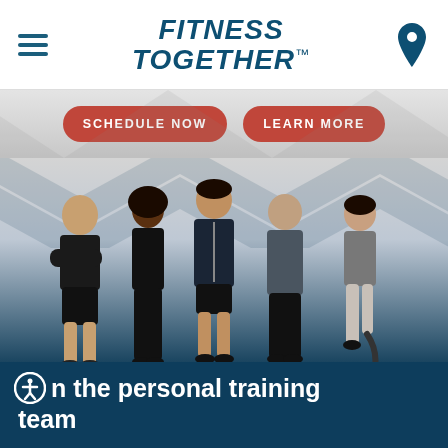FITNESS TOGETHER
[Figure (screenshot): Two CTA buttons: SCHEDULE NOW and LEARN MORE, red rounded rectangle buttons on a light gray background]
[Figure (photo): Five fitness trainers standing together in dark athletic wear. From left: stocky bearded man with crossed arms, Black woman smiling, tall man in zip-up jacket, older bald man, and woman with prosthetic leg. Background fades from light gray to dark navy blue.]
n the personal training team